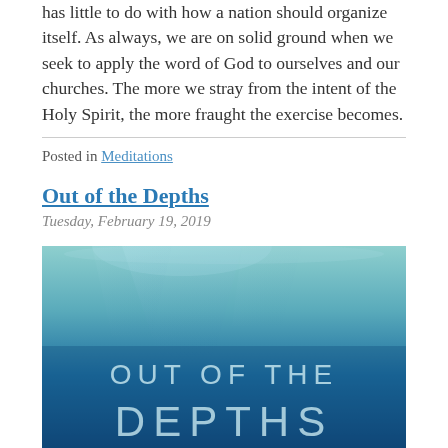has little to do with how a nation should organize itself. As always, we are on solid ground when we seek to apply the word of God to ourselves and our churches. The more we stray from the intent of the Holy Spirit, the more fraught the exercise becomes.
Posted in Meditations
Out of the Depths
Tuesday, February 19, 2019
[Figure (photo): Underwater photograph with blue-green tones showing light filtering through water from above. Text overlay reads 'OUT OF THE DEPTHS' in large light-colored capital letters.]